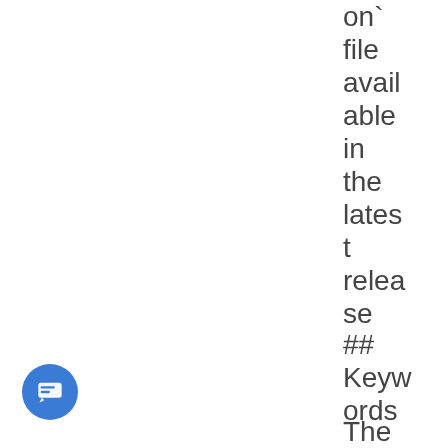on` file available in the latest release
## Keywords
The